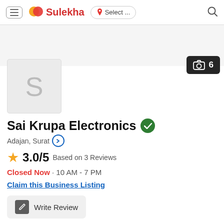Sulekha — Select ... [location] [search]
[Figure (screenshot): Gray banner placeholder area beneath header]
[Figure (screenshot): Profile placeholder box with letter S and camera icon showing count 6]
Sai Krupa Electronics
Adajan, Surat
3.0/5 Based on 3 Reviews
Closed Now · 10 AM - 7 PM
Claim this Business Listing
Write Review